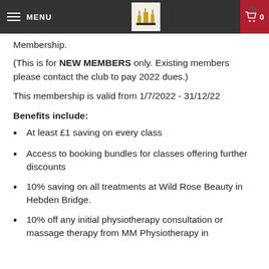MENU | [logo] | Cart 0
...you only joining, purchase a yearly Membership.
(This is for NEW MEMBERS only. Existing members please contact the club to pay 2022 dues.)
This membership is valid from 1/7/2022 - 31/12/22
Benefits include:
At least £1 saving on every class
Access to booking bundles for classes offering further discounts
10% saving on all treatments at Wild Rose Beauty in Hebden Bridge.
10% off any initial physiotherapy consultation or massage therapy from MM Physiotherapy in